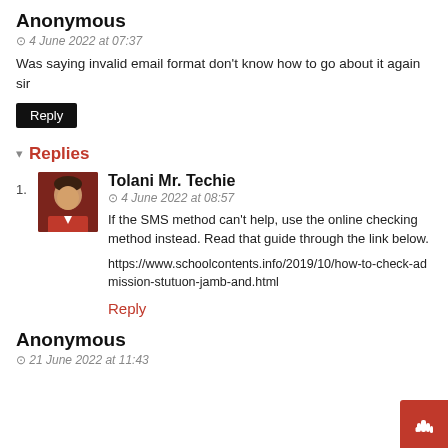Anonymous
4 June 2022 at 07:37
Was saying invalid email format don't know how to go about it again sir
Reply
Replies
1. Tolani Mr. Techie — 4 June 2022 at 08:57 — If the SMS method can't help, use the online checking method instead. Read that guide through the link below. https://www.schoolcontents.info/2019/10/how-to-check-admission-stutuon-jamb-and.html
Reply
Anonymous
21 June 2022 at 11:43